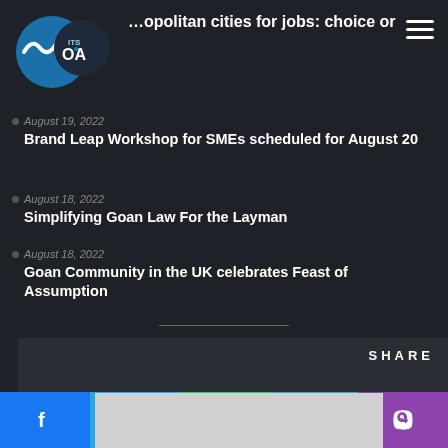[Figure (logo): ITS OA logo with circular wave design in blue and white]
… opolitan cities for jobs: choice or
August 19, 2022
Brand Leap Workshop for SMEs scheduled for August 20
August 18, 2022
Simplifying Goan Law For the Layman
August 18, 2022
Goan Community in the UK celebrates Feast of Assumption
SHARE
[Figure (screenshot): Gray placeholder image area]
Social share buttons: Facebook, Twitter, WhatsApp, Telegram, Viber